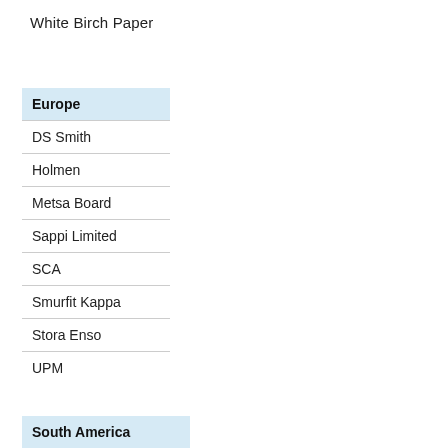White Birch Paper
Europe
DS Smith
Holmen
Metsa Board
Sappi Limited
SCA
Smurfit Kappa
Stora Enso
UPM
South America